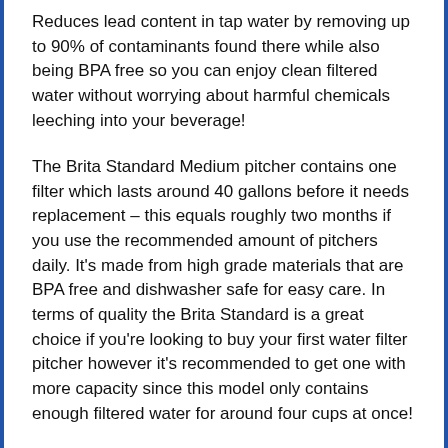Reduces lead content in tap water by removing up to 90% of contaminants found there while also being BPA free so you can enjoy clean filtered water without worrying about harmful chemicals leeching into your beverage!
The Brita Standard Medium pitcher contains one filter which lasts around 40 gallons before it needs replacement – this equals roughly two months if you use the recommended amount of pitchers daily. It's made from high grade materials that are BPA free and dishwasher safe for easy care. In terms of quality the Brita Standard is a great choice if you're looking to buy your first water filter pitcher however it's recommended to get one with more capacity since this model only contains enough filtered water for around four cups at once!
PROs
Great price point makes this an affordable pick while